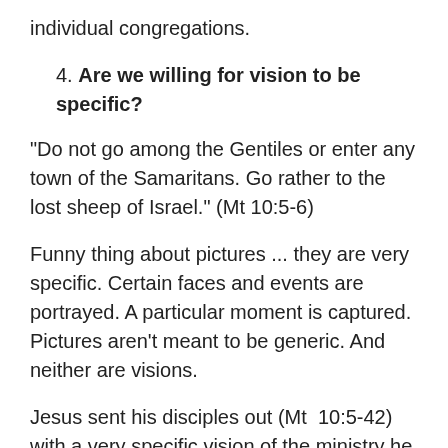individual congregations.
4. Are we willing for vision to be specific?
“Do not go among the Gentiles or enter any town of the Samaritans. Go rather to the lost sheep of Israel.” (Mt 10:5-6)
Funny thing about pictures ... they are very specific. Certain faces and events are portrayed. A particular moment is captured. Pictures aren’t meant to be generic. And neither are visions.
Jesus sent his disciples out (Mt 10:5-42) with a very specific vision of the ministry he wanted them to do: go to the lost sheep of Israel ... preach that the kingdom of heaven has come ... heal the sick ... no gold or silver